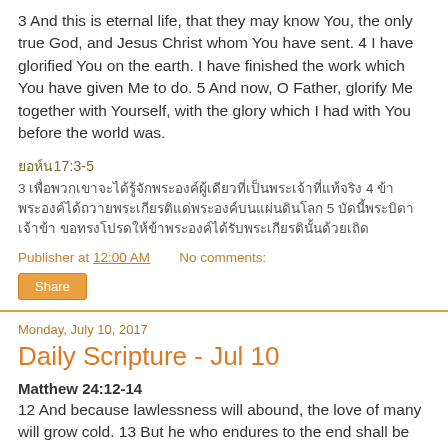3 And this is eternal life, that they may know You, the only true God, and Jesus Christ whom You have sent. 4 I have glorified You on the earth. I have finished the work which You have given Me to do. 5 And now, O Father, glorify Me together with Yourself, with the glory which I had with You before the world was.
ยอห์น17:3-5
3 เพื่อพวกเขาจะได้รู้จักพระองค์ผู้เดียวที่เป็นพระเจ้าที่แท้จริง 4 ข้าพระองค์ได้ถวายพระเกียรติแด่พระองค์บนแผ่นดินโลก 5 บัดนี้พระบิดาเจ้าข้า ขอทรงโปรดให้ข้าพระองค์ได้รับพระเกียรตินั้นด้วยเถิด
Publisher at 12:00 AM    No comments:
Share
Monday, July 10, 2017
Daily Scripture - Jul 10
Matthew 24:12-14
12 And because lawlessness will abound, the love of many will grow cold. 13 But he who endures to the end shall be saved. 14 And this gospel of the kingdom will be preached in all the world as a witness to all the nations, and then the end will come.